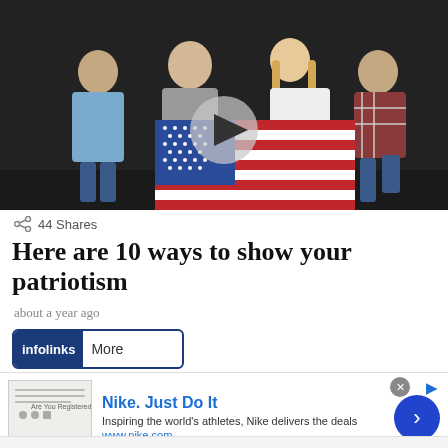[Figure (photo): Young people holding an American flag against a dark background, with a video play button overlay in the center]
44 Shares
Here are 10 ways to show your patriotism
about a year ago
[Figure (other): infolinks bar with 'more' text]
[Figure (other): Nike advertisement banner: Nike. Just Do It — Inspiring the world's athletes, Nike delivers the deals — www.nike.com]